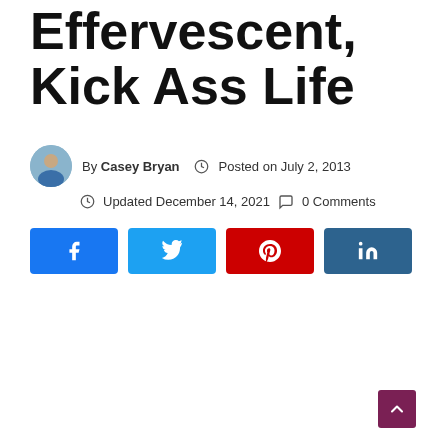Effervescent, Kick Ass Life
By Casey Bryan  Posted on July 2, 2013  Updated December 14, 2021  0 Comments
[Figure (infographic): Social share buttons: Facebook, Twitter, Pinterest, LinkedIn]
[Figure (other): Back to top button (purple arrow up)]